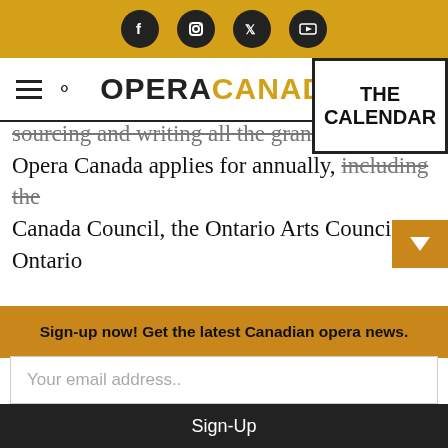Social media icons bar (Facebook, Instagram, Twitter, YouTube)
OPERA CANADA — THE CALENDAR navigation bar
sourcing and writing all the grant applications Opera Canada applies for annually, including the Canada Council, the Ontario Arts Council, Ontario Creates, the Magazine Publications Fund, and others. Both initial applications and ongoing interim and final reports have to be completed.

The Grant Writer is also tasked with identify
Sign-up now! Get the latest Canadian opera news.
Your email address..
Sign-Up